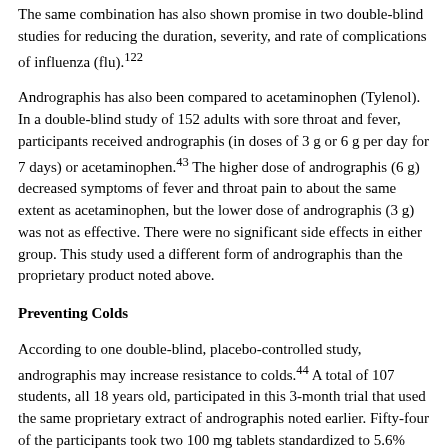The same combination has also shown promise in two double-blind studies for reducing the duration, severity, and rate of complications of influenza (flu).122
Andrographis has also been compared to acetaminophen (Tylenol). In a double-blind study of 152 adults with sore throat and fever, participants received andrographis (in doses of 3 g or 6 g per day for 7 days) or acetaminophen.43 The higher dose of andrographis (6 g) decreased symptoms of fever and throat pain to about the same extent as acetaminophen, but the lower dose of andrographis (3 g) was not as effective. There were no significant side effects in either group. This study used a different form of andrographis than the proprietary product noted above.
Preventing Colds
According to one double-blind, placebo-controlled study, andrographis may increase resistance to colds.44 A total of 107 students, all 18 years old, participated in this 3-month trial that used the same proprietary extract of andrographis noted earlier. Fifty-four of the participants took two 100 mg tablets standardized to 5.6% andrographolide daily—considerably less than the 1,200 mg to 6,000 mg per day that has been used in studies on treatment